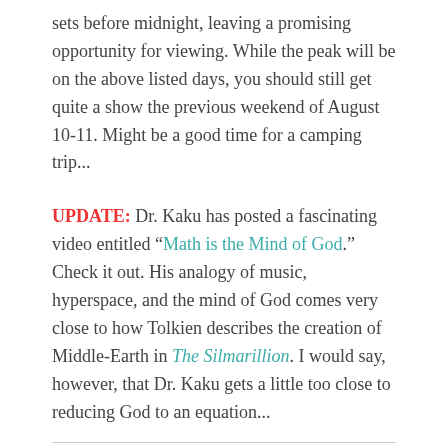sets before midnight, leaving a promising opportunity for viewing. While the peak will be on the above listed days, you should still get quite a show the previous weekend of August 10-11. Might be a good time for a camping trip...
UPDATE: Dr. Kaku has posted a fascinating video entitled “Math is the Mind of God.” Check it out. His analogy of music, hyperspace, and the mind of God comes very close to how Tolkien describes the creation of Middle-Earth in The Silmarillion. I would say, however, that Dr. Kaku gets a little too close to reducing God to an equation...
Share this: